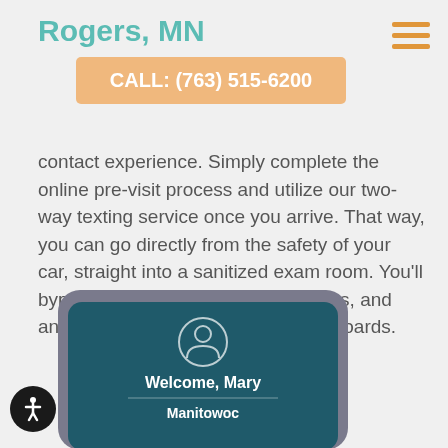Rogers, MN
CALL: (763) 515-6200
contact experience. Simply complete the online pre-visit process and utilize our two-way texting service once you arrive. That way, you can go directly from the safety of your car, straight into a sanitized exam room. You'll bypass the paperwork, other patients, and any touching of pens, paper, or clipboards.
[Figure (screenshot): Mobile phone mockup showing a check-in screen with a user icon, 'Welcome, Mary' text, and 'Manitowoc' location label on a dark teal background.]